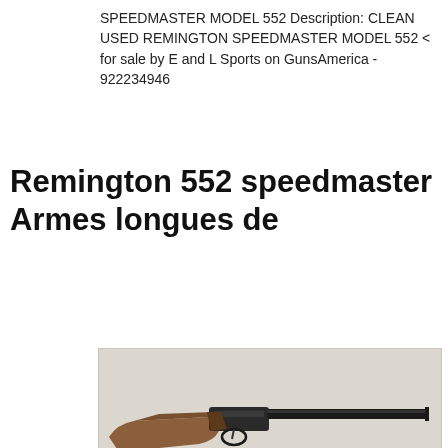SPEEDMASTER MODEL 552 Description: CLEAN USED REMINGTON SPEEDMASTER MODEL 552 < for sale by E and L Sports on GunsAmerica - 922234946
Remington 552 speedmaster Armes longues de
[Figure (photo): Photo of a Remington 552 Speedmaster rifle with wooden stock and dark metal barrel, shown in profile on a light gray background.]
Remington 552 BDL Speedmaster Reviews New & Used Price. 12/12/2013 · A friend and I went to a gun show in